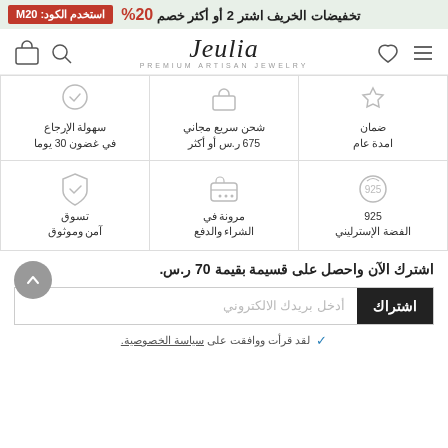تخفيضات الخريف اشتر 2 أو أكثر خصم 20% استخدم الكود: M20
[Figure (logo): Jeulia logo - Premium Artisan Jewelry with navigation icons]
[Figure (infographic): 6 feature icons grid: سهولة الإرجاع في غضون 30 يوما, شحن سريع مجاني 675 ر.س أو أكثر, ضمان امدة عام, تسوق أمن وموثوق, مرونة في الشراء والدفع, 925 الفضة الإسترليني]
اشترك الآن واحصل على قسيمة بقيمة 70 ر.س.
أدخل بريدك الالكتروني
اشتراك
لقد قرأت ووافقت على سياسة الخصوصية.